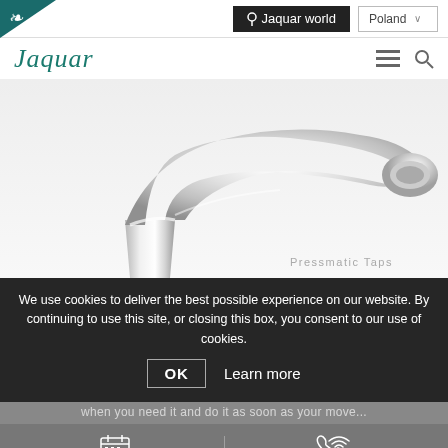[Figure (screenshot): Jaquar website navigation bar with dark teal logo mark top left, 'Jaquar world' button (dark), 'Poland' dropdown, hamburger menu and search icon]
[Figure (photo): Close-up of a chrome Jaquar Pressmatic tap/faucet on white background with 'Pressmatic Taps' text label]
We use cookies to deliver the best possible experience on our website. By continuing to use this site, or closing this box, you consent to our use of cookies.
OK  Learn more
when you need it and do it as soon as your move...
Online Appointment
Request a Callback